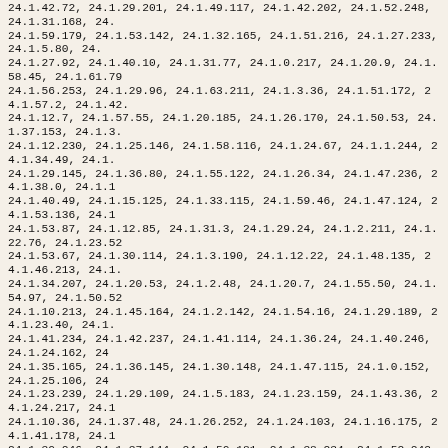24.1.42.72, 24.1.29.201, 24.1.49.117, 24.1.42.202, 24.1.52.248, 24.1.31.168, 24. 24.1.59.179, 24.1.53.142, 24.1.32.165, 24.1.51.216, 24.1.27.233, 24.1.5.80, 24. 24.1.27.92, 24.1.40.10, 24.1.31.77, 24.1.0.217, 24.1.20.9, 24.1.58.45, 24.1.61.79 24.1.56.253, 24.1.29.96, 24.1.63.211, 24.1.3.36, 24.1.51.172, 24.1.57.2, 24.1.42. 24.1.12.7, 24.1.57.55, 24.1.20.185, 24.1.26.170, 24.1.50.53, 24.1.37.153, 24.1.3. 24.1.12.230, 24.1.25.146, 24.1.58.116, 24.1.24.67, 24.1.1.244, 24.1.34.49, 24.1. 24.1.29.145, 24.1.36.80, 24.1.55.122, 24.1.26.34, 24.1.47.236, 24.1.38.0, 24.1.1 24.1.40.49, 24.1.15.125, 24.1.33.115, 24.1.59.46, 24.1.47.124, 24.1.53.136, 24.1 24.1.53.87, 24.1.12.85, 24.1.31.3, 24.1.29.24, 24.1.2.211, 24.1.22.76, 24.1.23.52 24.1.53.67, 24.1.30.114, 24.1.3.190, 24.1.12.22, 24.1.48.135, 24.1.46.213, 24.1. 24.1.34.207, 24.1.20.53, 24.1.2.48, 24.1.20.7, 24.1.55.50, 24.1.54.97, 24.1.50.52 24.1.10.213, 24.1.45.164, 24.1.2.142, 24.1.54.16, 24.1.29.189, 24.1.23.40, 24.1. 24.1.41.234, 24.1.42.237, 24.1.41.114, 24.1.36.24, 24.1.40.246, 24.1.24.162, 24 24.1.35.165, 24.1.36.145, 24.1.30.148, 24.1.47.115, 24.1.0.152, 24.1.25.106, 24 24.1.23.239, 24.1.29.109, 24.1.5.183, 24.1.23.159, 24.1.43.36, 24.1.24.217, 24.1 24.1.10.36, 24.1.37.48, 24.1.26.252, 24.1.24.103, 24.1.16.175, 24.1.41.178, 24.1 24.1.30.246, 24.1.37.144, 24.1.50.181, 24.1.38.234, 24.1.52.242, 24.1.63.161, 2 24.1.9.10, 24.1.21.175, 24.1.50.106, 24.1.25.83, 24.1.14.72, 24.1.24.255, 24.1.3 24.1.48.116, 24.1.49.47, 24.1.34.189, 24.1.58.194, 24.1.5.187, 24.1.27.43, 24.1. 24.1.8.79, 24.1.10.227, 24.1.33.109, 24.1.39.134, 24.1.17.251, 24.1.61.76, 24.1. 24.1.55.170, 24.1.50.162, 24.1.15.46, 24.1.19.68, 24.1.56.183, 24.1.34.71, 24.1. 24.1.1.214, 24.1.17.120, 24.1.40.129, 24.1.17.149, 24.1.16.197, 24.1.58.123, 24 24.1.0.23, 24.1.24.69, 24.1.2.16, 24.1.32.104, 24.1.7.161, 24.1.30.132, 24.1.30. 24.1.33.173, 24.1.22.66, 24.1.38.156, 24.1.24.27, 24.1.10.154, 24.1.11.95, 24.1. 24.1.15.96, 24.1.48.98, 24.1.3.50, 24.1.7.162, 24.1.22.174, 24.1.23.23, 24.1.19. 24.1.25.151, 24.1.41.233, 24.1.46.181, 24.1.8.7, 24.1.60.114, 24.1.59.224, 24.1. 24.1.53.164, 24.1.42.13, 24.1.12.91, 24.1.63.222, 24.1.17.205, 24.1.48.215, 24. 24.1.55.190, 24.1.30.181, 24.1.21.248, 24.1.41.142, 24.1.16.218, 24.1.47.110, 2 24.1.32.147, 24.1.3.181, 24.1.52.149, 24.1.28.219, 24.1.14.73, 24.1.2.3, 24.1.21 24.1.34.204, 24.1.43.74, 24.1.56.81, 24.1.30.175, 24.1.33.52, 24.1.54.64, 24.1.2 24.1.46.84, 24.1.52.79, 24.1.1.80, 24.1.23.65, 24.1.6.54, 24.1.23.216, 24.1.41.98 24.1.21.41, 24.1.55.187, 24.1.19.72, 24.1.8.47, 24.1.26.189, 24.1.24.186, 24.1.2 24.1.27.96, 24.1.54.224, 24.1.15.192, 24.1.25.41, 24.1.19.251, 24.1.40.110, 2